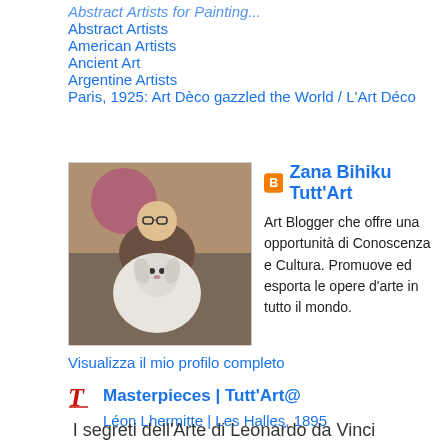Abstract Artists
American Artists
Ancient Art
Argentine Artists
Paris, 1925: Art Dèco gazzled the World / L'Art Déco
[Figure (photo): Profile photo of Zana Bihiku with a white fluffy dog]
Zana Bihiku Tutt'Art
Art Blogger che offre una opportunità di Conoscenza e Cultura. Promuove ed esporta le opere d'arte in tutto il mondo.
Visualizza il mio profilo completo
[Figure (logo): Tutt'Art@ logo icon (red T)]
Masterpieces | Tutt'Art@
Léon Lhermitte | Les Halles, 1895
I segreti dell'Arte di Leonardo da Vinci
[Figure (photo): Partial bottom image, likely a Leonardo da Vinci artwork, grayish tones]